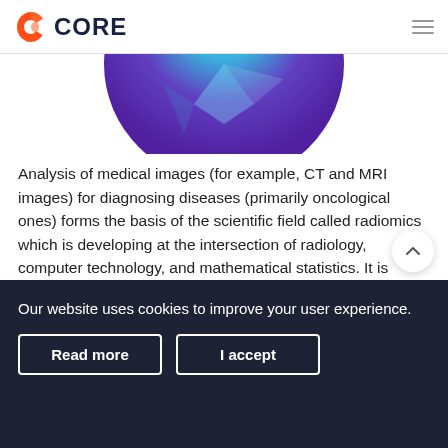CORE
[Figure (illustration): Partial view of a circular graphic with blue, teal, and purple gradient colors, showing the bottom half of a sphere or abstract shape.]
Analysis of medical images (for example, CT and MRI images) for diagnosing diseases (primarily oncological ones) forms the basis of the scientific field called radiomics which is developing at the intersection of radiology, computer technology, and mathematical statistics. It is expected that the future use of artificial intelligence will allow doctors to abandon invasive diagnostic procedures accompanied by a high risk of complications and discomfort for the patient (for example, endoscopy or biopsy).
Our website uses cookies to improve your user experience.